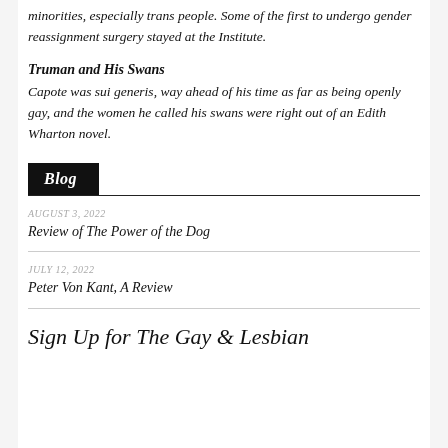minorities, especially trans people. Some of the first to undergo gender reassignment surgery stayed at the Institute.
Truman and His Swans
Capote was sui generis, way ahead of his time as far as being openly gay, and the women he called his swans were right out of an Edith Wharton novel.
Blog
AUGUST 3, 2022
Review of The Power of the Dog
JULY 12, 2022
Peter Von Kant, A Review
Sign Up for The Gay & Lesbian